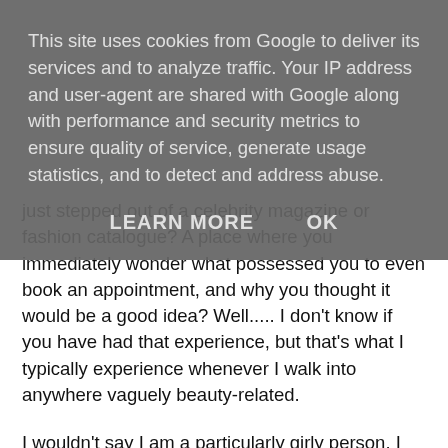This site uses cookies from Google to deliver its services and to analyze traffic. Your IP address and user-agent are shared with Google along with performance and security metrics to ensure quality of service, generate usage statistics, and to detect and address abuse.
LEARN MORE    OK
just stepped out of a celebrity magazine or fashion catalogue? A place where you immediately wonder what possessed you to even book an appointment, and why you thought it would be a good idea? Well..... I don't know if you have had that experience, but that's what I typically experience whenever I walk into anywhere vaguely beauty-related.
I wouldn't say I am a particularly girly person. I am not massively into beauty - mainly because I just don't have the time. My nails have seen better days, and the last time I went to the hairdressers was probably somewhere circa 2009. I loathe getting into the hairdressers chair and have them ask the dreaded question "so when did you last get